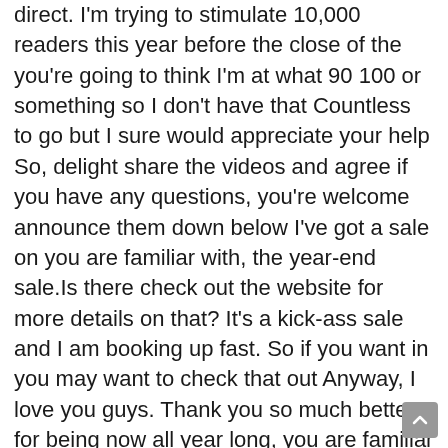direct. I'm trying to stimulate 10,000 readers this year before the close of the you're going to think I'm at what 90 100 or something so I don't have that Countless to go but I sure would appreciate your help So, delight share the videos and agree if you have any questions, you're welcome announce them down below I've got a sale on you are familiar with, the year-end sale.Is there check out the website for more details on that? It's a kick-ass sale and I am booking up fast. So if you want in you may want to check that out Anyway, I love you guys. Thank you so much better for being now all year long, you are familiar with and patronizing me the course that you do your meanings convey the world countries to me and Your support it's fantastic. I hope that I've been able to inspire you all through 2018. You have a great day I'm looking forward to seeing you in our next video. Take care for now bye-bye.